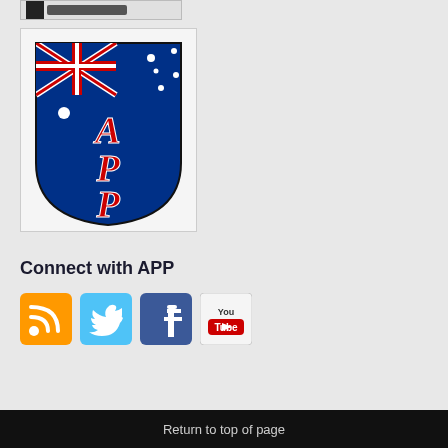[Figure (logo): Partially visible logo/image at the top of the page, cropped]
[Figure (logo): APP (Australian Privacy Principles) shield logo — blue shield with Australian flag in upper portion and large red italic letters A, P, P stacked vertically on the shield]
Connect with APP
[Figure (infographic): Four social media icon buttons: RSS feed (orange), Twitter (light blue bird), Facebook (blue f), YouTube (white with red YouTube logo)]
Return to top of page